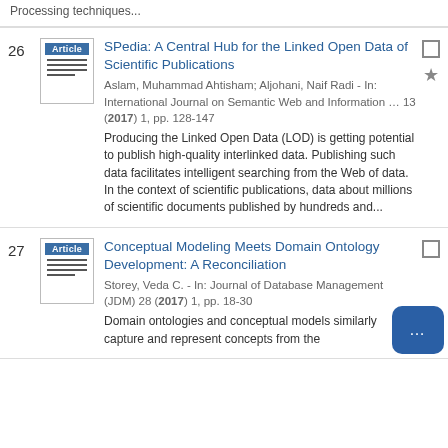Processing techniques...
26. SPedia: A Central Hub for the Linked Open Data of Scientific Publications. Aslam, Muhammad Ahtisham; Aljohani, Naif Radi - In: International Journal on Semantic Web and Information … 13 (2017) 1, pp. 128-147. Producing the Linked Open Data (LOD) is getting potential to publish high-quality interlinked data. Publishing such data facilitates intelligent searching from the Web of data. In the context of scientific publications, data about millions of scientific documents published by hundreds and...
27. Conceptual Modeling Meets Domain Ontology Development: A Reconciliation. Storey, Veda C. - In: Journal of Database Management (JDM) 28 (2017) 1, pp. 18-30. Domain ontologies and conceptual models similarly capture and represent concepts from the ...